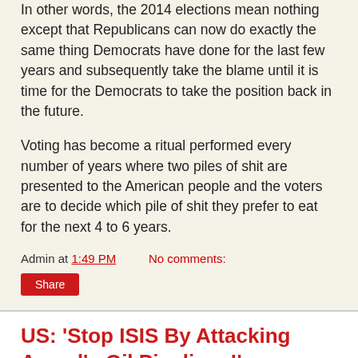In other words, the 2014 elections mean nothing except that Republicans can now do exactly the same thing Democrats have done for the last few years and subsequently take the blame until it is time for the Democrats to take the position back in the future.
Voting has become a ritual performed every number of years where two piles of shit are presented to the American people and the voters are to decide which pile of shit they prefer to eat for the next 4 to 6 years.
Admin at 1:49 PM    No comments:
Share
US: 'Stop ISIS By Attacking Assad's Oil Pipelines!'
Brandon Turbeville
[Figure (photo): Partial image of a person, red-toned background, cropped at bottom of page]